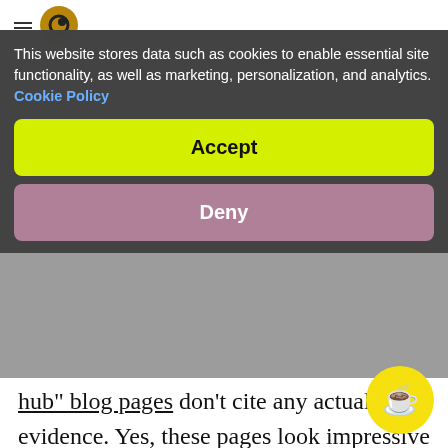Website header with hamburger menu and logo
This website stores data such as cookies to enable essential site functionality, as well as marketing, personalization, and analytics. Cookie Policy
Accept
Deny
hub” blog pages don’t cite any actual evidence. Yes, these pages look impressive with lists of citations but the act of listing scientific papers is not a goldpass for supporting evidence.
When you scratch beneath the surface, Supersapiens have simply used an approach